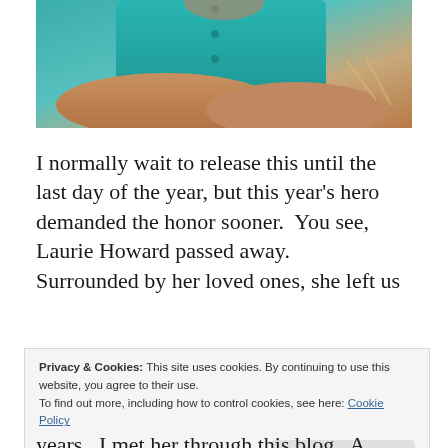[Figure (photo): Photograph of a person wearing a teal/turquoise shirt, arms crossed, partial view of torso]
I normally wait to release this until the last day of the year, but this year’s hero demanded the honor sooner.  You see, Laurie Howard passed away.  Surrounded by her loved ones, she left us
Privacy & Cookies: This site uses cookies. By continuing to use this website, you agree to their use.
To find out more, including how to control cookies, see here: Cookie Policy
years.  I met her through this blog.  A